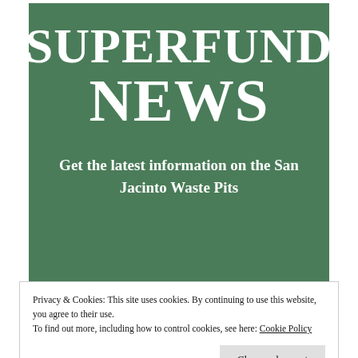SUPERFUND NEWS
Get the latest information on the San Jacinto Waste Pits
Privacy & Cookies: This site uses cookies. By continuing to use this website, you agree to their use.
To find out more, including how to control cookies, see here: Cookie Policy
Close and accept